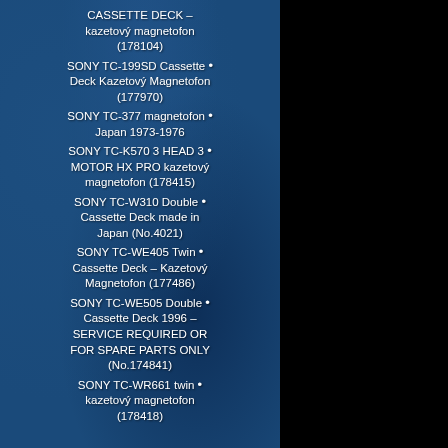CASSETTE DECK – kazetový magnetofon (178104)
SONY TC-199SD Cassette • Deck Kazetový Magnetofon (177970)
SONY TC-377 magnetofon • Japan 1973-1976
SONY TC-K570 3 HEAD 3 • MOTOR HX PRO kazetový magnetofon (178415)
SONY TC-W310 Double • Cassette Deck made in Japan (No.4021)
SONY TC-WE405 Twin • Cassette Deck – Kazetový Magnetofon (177486)
SONY TC-WE505 Double • Cassette Deck 1996 – SERVICE REQUIRED OR FOR SPARE PARTS ONLY (No.174841)
SONY TC-WR661 twin • kazetový magnetofon (178418)